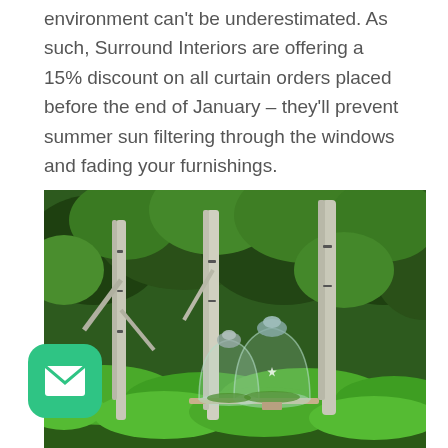environment can't be underestimated. As such, Surround Interiors are offering a 15% discount on all curtain orders placed before the end of January – they'll prevent summer sun filtering through the windows and fading your furnishings.
[Figure (photo): Outdoor garden scene with tall birch trees, dense green foliage and hedges in background, and glass cloche terrariums with metallic dome finials on a table in the foreground, containing small plants and decorative items.]